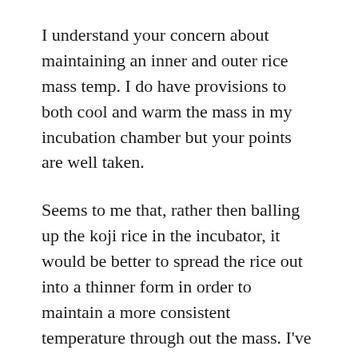I understand your concern about maintaining an inner and outer rice mass temp. I do have provisions to both cool and warm the mass in my incubation chamber but your points are well taken.
Seems to me that, rather then balling up the koji rice in the incubator, it would be better to spread the rice out into a thinner form in order to maintain a more consistent temperature through out the mass. I've seen where many kura implement a furrow system when making koji then covering the furrowed koji layer with cloth. They probe the deeper area of the furrow with a temp probe and chart the temperature from there